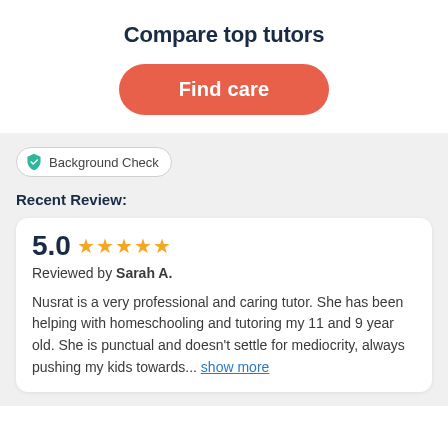Compare top tutors
Find care
Background Check
Recent Review:
5.0 ★★★★★
Reviewed by Sarah A.
Nusrat is a very professional and caring tutor. She has been helping with homeschooling and tutoring my 11 and 9 year old. She is punctual and doesn't settle for mediocrity, always pushing my kids towards... show more